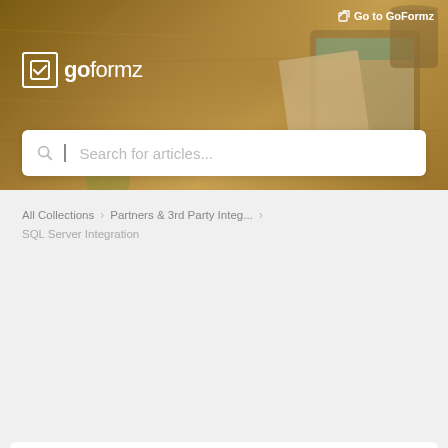[Figure (screenshot): GoFormz help center header banner with wooden desk background, showing GoFormz logo on the left and a 'Go to GoFormz' link on the top right, with a tablet displaying a form on the right side]
Go to GoFormz
[Figure (logo): GoFormz logo: checkbox icon with 'goformz' text in white]
Search for articles...
All Collections  >  Partners & 3rd Party Integ...  >
SQL Server Integration
SQL Server Integration
The GoFormz-SQL Server integration allows your operation to leverage SQL as your “source of truth” for data management.